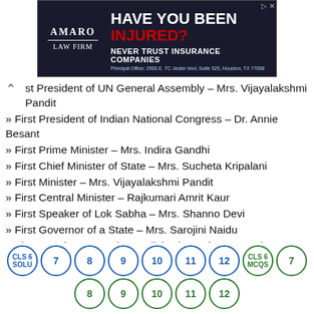[Figure (other): Amaro Law Firm advertisement banner: HAVE YOU BEEN INJURED? NEVER TRUST INSURANCE COMPANIES. Principal Office: 2500 E. TC Jester blvd, Suite 525, Houston, TX 77008]
1st President of UN General Assembly – Mrs. Vijayalakshmi Pandit
» First President of Indian National Congress – Dr. Annie Besant
» First Prime Minister – Mrs. Indira Gandhi
» First Chief Minister of State – Mrs. Sucheta Kripalani
» First Minister – Mrs. Vijayalakshmi Pandit
» First Central Minister – Rajkumari Amrit Kaur
» First Speaker of Lok Sabha – Mrs. Shanno Devi
» First Governor of a State – Mrs. Sarojini Naidu
» First to swim across the English Channel – Mrs. Arti
[Figure (other): Navigation circles: CLS 6 SOLU, 7, 8, 9, 10, 11, 12, CLS 6 MCQS, 7 (top row); 8, 9, 10, 11, 12 (bottom row, green)]